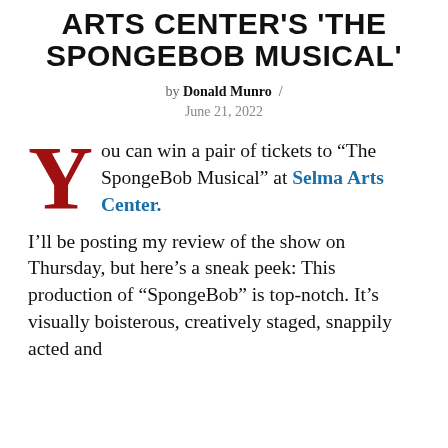ARTS CENTER'S 'THE SPONGEBOB MUSICAL'
by Donald Munro / June 21, 2022
You can win a pair of tickets to “The SpongeBob Musical” at Selma Arts Center.
I’ll be posting my review of the show on Thursday, but here’s a sneak peek: This production of “SpongeBob” is top-notch. It’s visually boisterous, creatively staged, snappily acted and